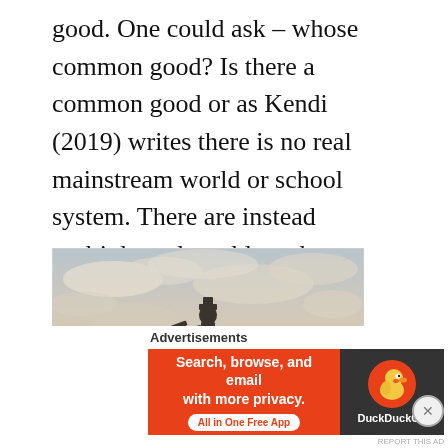good. One could ask – whose common good? Is there a common good or as Kendi (2019) writes there is no real mainstream world or school system. There are instead multiple real worlds and perspectives that need to be respected.
[Figure (photo): A silhouette of a statue of a person standing atop a stone pedestal, photographed from below against a dramatic cloudy sky with warm light.]
Advertisements
[Figure (infographic): DuckDuckGo advertisement banner. Left side orange background with white bold text: 'Search, browse, and email with more privacy.' and a white button 'All in One Free App'. Right side dark background with DuckDuckGo duck logo and brand name.]